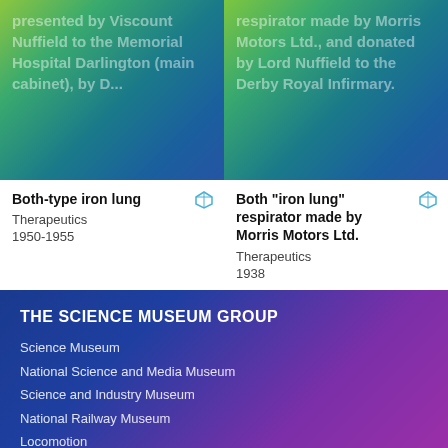[Figure (photo): Left card image: gradient background (green to teal to blue) with faded white overlay text about an iron lung presented by Viscount Nuffield to the Memorial Hospital Darlington (main cabinet)]
[Figure (photo): Right card image: gradient background (green to teal to blue) with faded white overlay text about an iron lung respirator made by Morris Motors Ltd., donated by Lord Nuffield to the Derby Royal Infirmary]
Both-type iron lung
Therapeutics
1950-1955
Both "iron lung" respirator made by Morris Motors Ltd.
Therapeutics
1938
THE SCIENCE MUSEUM GROUP
Science Museum
National Science and Media Museum
Science and Industry Museum
National Railway Museum
Locomotion